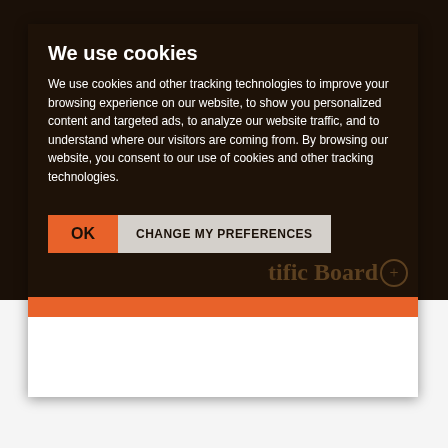We use cookies
We use cookies and other tracking technologies to improve your browsing experience on our website, to show you personalized content and targeted ads, to analyze our website traffic, and to understand where our visitors are coming from. By browsing our website, you consent to our use of cookies and other tracking technologies.
OK
CHANGE MY PREFERENCES
tific Board
Central Services